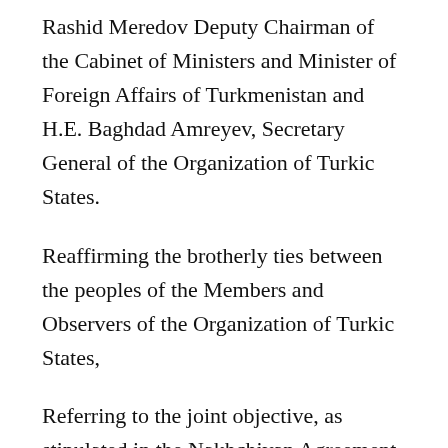Rashid Meredov Deputy Chairman of the Cabinet of Ministers and Minister of Foreign Affairs of Turkmenistan and H.E. Baghdad Amreyev, Secretary General of the Organization of Turkic States.
Reaffirming the brotherly ties between the peoples of the Members and Observers of the Organization of Turkic States,
Referring to the joint objective, as stipulated in the Nakhchivan Agreement on the Establishment of the Cooperation Council of Turkic Speaking States of 3 October 2009, to contribute to strengthen cooperation, security and...